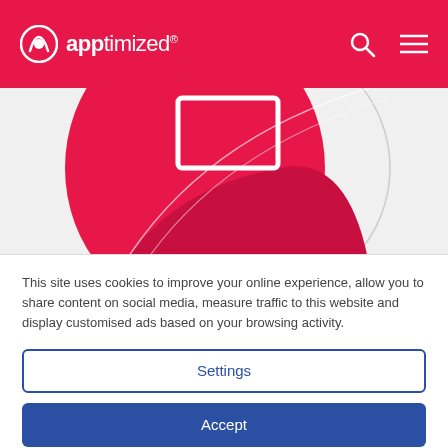apptimized®
[Figure (illustration): Abstract illustration with pink/red circular and curved shapes on white/light gray background, partially visible, with a white rectangle outline shape in the upper center.]
This site uses cookies to improve your online experience, allow you to share content on social media, measure traffic to this website and display customised ads based on your browsing activity.
Settings
Accept